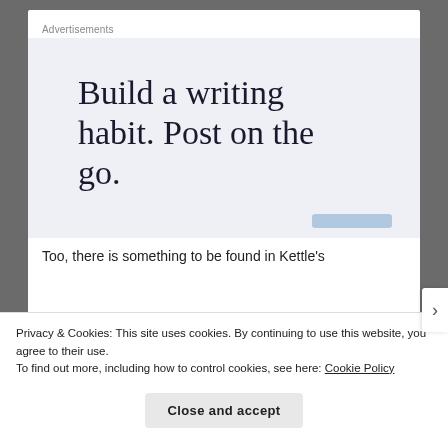Advertisements
[Figure (illustration): Advertisement banner with light blue-grey background showing the text 'Build a writing habit. Post on the go.' in large serif font, with a small blue button element at the bottom right.]
Too, there is something to be found in Kettle's
Privacy & Cookies: This site uses cookies. By continuing to use this website, you agree to their use.
To find out more, including how to control cookies, see here: Cookie Policy
Close and accept